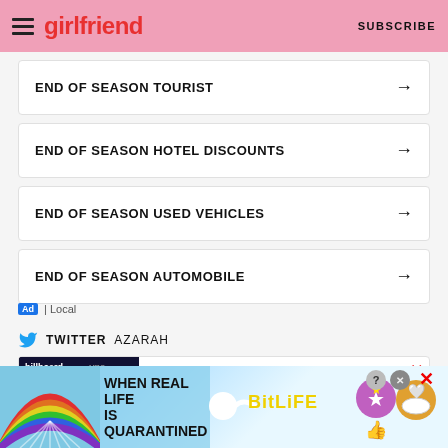girlfriend | SUBSCRIBE
END OF SEASON TOURIST →
END OF SEASON HOTEL DISCOUNTS →
END OF SEASON USED VEHICLES →
END OF SEASON AUTOMOBILE →
Ad | Local
TWITTER AZARAH
Cara Delevingne gushes over Megan Thee Stallion
[Figure (screenshot): Billboard Music Awards red carpet screenshot with play button overlay, showing people in formal wear]
[Figure (illustration): BitLife advertisement banner: 'WHEN REAL LIFE IS QUARANTINED' with rainbow, sperm emoji, BitLife logo and emoji characters on light blue background]